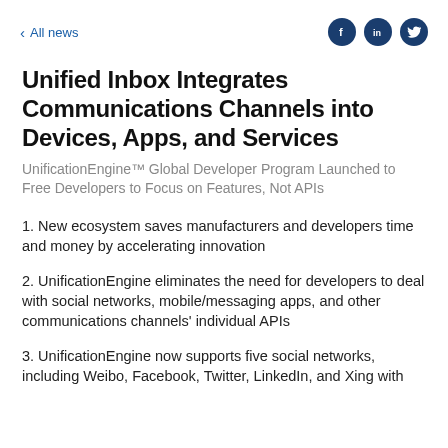< All news
Unified Inbox Integrates Communications Channels into Devices, Apps, and Services
UnificationEngine™ Global Developer Program Launched to Free Developers to Focus on Features, Not APIs
1. New ecosystem saves manufacturers and developers time and money by accelerating innovation
2. UnificationEngine eliminates the need for developers to deal with social networks, mobile/messaging apps, and other communications channels' individual APIs
3. UnificationEngine now supports five social networks, including Weibo, Facebook, Twitter, LinkedIn, and Xing with